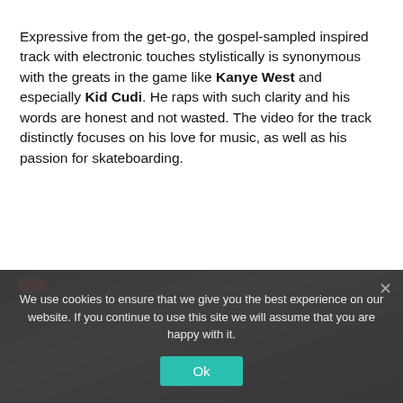Expressive from the get-go, the gospel-sampled inspired track with electronic touches stylistically is synonymous with the greats in the game like Kanye West and especially Kid Cudi. He raps with such clarity and his words are honest and not wasted. The video for the track distinctly focuses on his love for music, as well as his passion for skateboarding.
[Figure (screenshot): Dark video thumbnail with a cookie consent overlay banner saying 'We use cookies to ensure that we give you the best experience on our website. If you continue to use this site we will assume that you are happy with it.' with an Ok button in teal and a close X.]